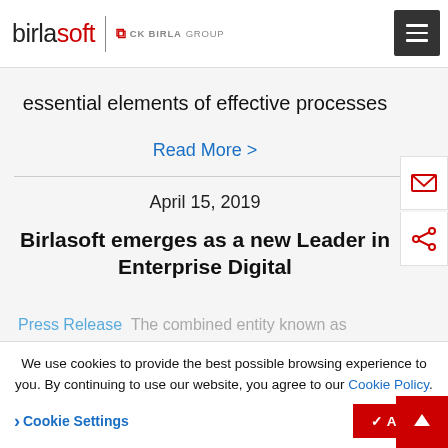birlasoft | CK BIRLA GROUP
essential elements of effective processes
Read More >
April 15, 2019
Birlasoft emerges as a new Leader in Enterprise Digital
Press Release  The combined entity known as
We use cookies to provide the best possible browsing experience to you. By continuing to use our website, you agree to our Cookie Policy.
> Cookie Settings
✓ ACCEPT